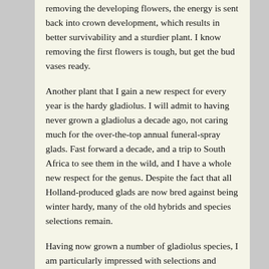removing the developing flowers, the energy is sent back into crown development, which results in better survivability and a sturdier plant. I know removing the first flowers is tough, but get the bud vases ready.
Another plant that I gain a new respect for every year is the hardy gladiolus. I will admit to having never grown a gladiolus a decade ago, not caring much for the over-the-top annual funeral-spray glads. Fast forward a decade, and a trip to South Africa to see them in the wild, and I have a whole new respect for the genus. Despite the fact that all Holland-produced glads are now bred against being winter hardy, many of the old hybrids and species selections remain.
Having now grown a number of gladiolus species, I am particularly impressed with selections and hybrids of Gladiolus dalenii. G. dalenii seems to impart the best traits of spike form and hardiness into its offspring. Some selections such as G. 'Boone', which we hope to offer in spring, are reportedly hardy to Zone 5. While we list most of our gladiolus offerings as Zone 7b, that's only because